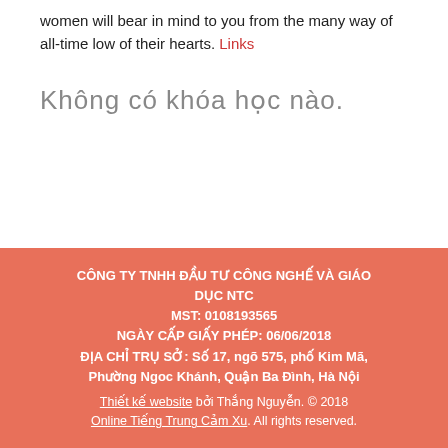women will bear in mind to you from the many way of all-time low of their hearts. Links
Không có khóa học nào.
CÔNG TY TNHH ĐẦU TƯ CÔNG NGHẾ VÀ GIÁO DỤC NTC
MST: 0108193565
NGÀY CẤP GIẤY PHÉP: 06/06/2018
ĐỊA CHỈ TRỤ SỞ: Số 17, ngõ 575, phố Kim Mã, Phường Ngoc Khánh, Quận Ba Đình, Hà Nội
Thiết kế website bởi Thắng Nguyễn. © 2018 Online Tiếng Trung Cảm Xu. All rights reserved.